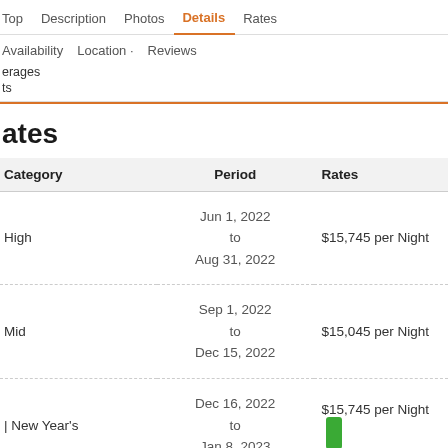Top | Description | Photos | Details | Rates
Availability | Location | Reviews | erages | ts
ates
| Category | Period | Rates |
| --- | --- | --- |
| High | Jun 1, 2022
to
Aug 31, 2022 | $15,745 per Night |
| Mid | Sep 1, 2022
to
Dec 15, 2022 | $15,045 per Night |
| | New Year's | Dec 16, 2022
to
Jan 8, 2023 | $15,745 per Night |